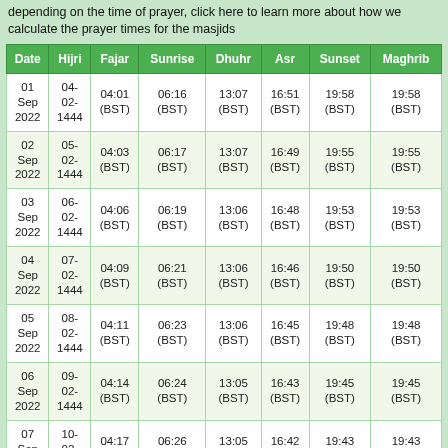depending on the time of prayer, click here to learn more about how we calculate the prayer times for the masjids
| Date | Hijri | Fajar | Sunrise | Dhuhr | Asr | Sunset | Maghrib |
| --- | --- | --- | --- | --- | --- | --- | --- |
| 01 Sep 2022 | 04-02-1444 | 04:01 (BST) | 06:16 (BST) | 13:07 (BST) | 16:51 (BST) | 19:58 (BST) | 19:58 (BST) |
| 02 Sep 2022 | 05-02-1444 | 04:03 (BST) | 06:17 (BST) | 13:07 (BST) | 16:49 (BST) | 19:55 (BST) | 19:55 (BST) |
| 03 Sep 2022 | 06-02-1444 | 04:06 (BST) | 06:19 (BST) | 13:06 (BST) | 16:48 (BST) | 19:53 (BST) | 19:53 (BST) |
| 04 Sep 2022 | 07-02-1444 | 04:09 (BST) | 06:21 (BST) | 13:06 (BST) | 16:46 (BST) | 19:50 (BST) | 19:50 (BST) |
| 05 Sep 2022 | 08-02-1444 | 04:11 (BST) | 06:23 (BST) | 13:06 (BST) | 16:45 (BST) | 19:48 (BST) | 19:48 (BST) |
| 06 Sep 2022 | 09-02-1444 | 04:14 (BST) | 06:24 (BST) | 13:05 (BST) | 16:43 (BST) | 19:45 (BST) | 19:45 (BST) |
| 07 Sep 2022 | 10-02-1444 | 04:17 (BST) | 06:26 (BST) | 13:05 (BST) | 16:42 (BST) | 19:43 (BST) | 19:43 (BST) |